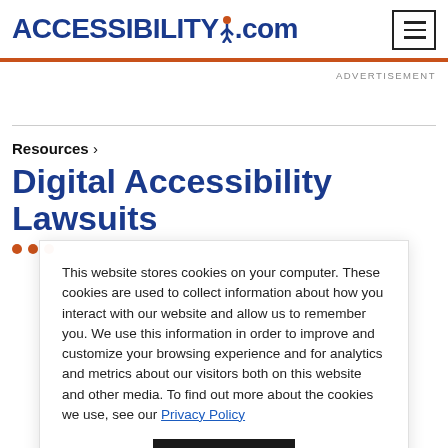ACCESSIBILITY.com
ADVERTISEMENT
Resources ›
Digital Accessibility Lawsuits
This website stores cookies on your computer. These cookies are used to collect information about how you interact with our website and allow us to remember you. We use this information in order to improve and customize your browsing experience and for analytics and metrics about our visitors both on this website and other media. To find out more about the cookies we use, see our Privacy Policy
Accept